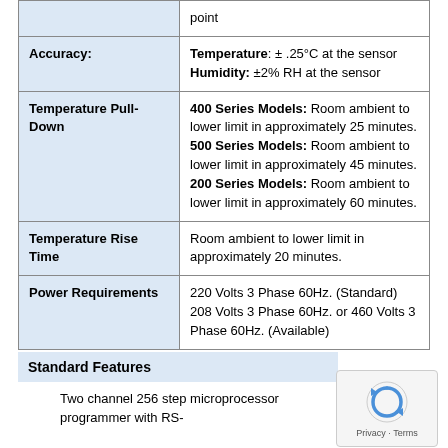| Feature | Details |
| --- | --- |
|  | point |
| Accuracy: | Temperature: ± .25°C at the sensor
Humidity: ±2% RH at the sensor |
| Temperature Pull-Down | 400 Series Models: Room ambient to lower limit in approximately 25 minutes.
500 Series Models: Room ambient to lower limit in approximately 45 minutes.
200 Series Models: Room ambient to lower limit in approximately 60 minutes. |
| Temperature Rise Time | Room ambient to lower limit in approximately 20 minutes. |
| Power Requirements | 220 Volts 3 Phase 60Hz. (Standard)
208 Volts 3 Phase 60Hz. or 460 Volts 3 Phase 60Hz. (Available) |
Standard Features
Two channel 256 step microprocessor programmer with RS-